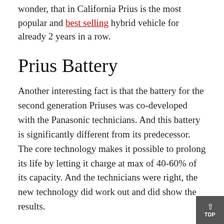wonder, that in California Prius is the most popular and best selling hybrid vehicle for already 2 years in a row.
Prius Battery
Another interesting fact is that the battery for the second generation Priuses was co-developed with the Panasonic technicians. And this battery is significantly different from its predecessor. The core technology makes it possible to prolong its life by letting it charge at max of 40-60% of its capacity. And the technicians were right, the new technology did work out and did show the results.
There was an conducted an interesting experiment. They have taken a 10-year-old used Prius and have compared its key characteristics, in specifics, its battery capacity with the results that the new Prius of this model year has